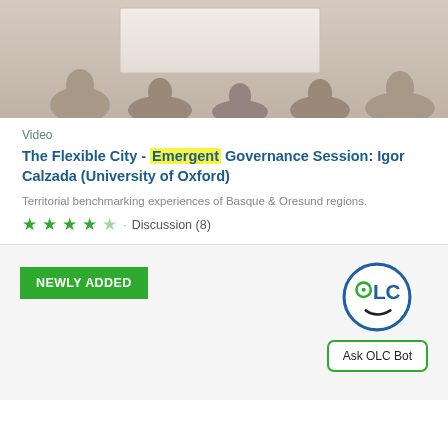[Figure (photo): Photo of a presentation or conference session with silhouettes of people and a projection screen in the background]
Video
The Flexible City - Emergent Governance Session: Igor Calzada (University of Oxford)
Territorial benchmarking experiences of Basque & Oresund regions.
★★★★☆ · Discussion (8)
NEWLY ADDED
[Figure (logo): OLC Bot face logo — circular icon with eyes and smile, blue/green color. Below it a button labeled 'Ask OLC Bot']